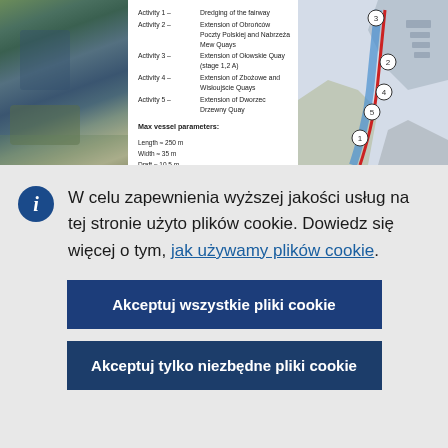[Figure (screenshot): Top banner showing aerial photo of port on left, activity list with map diagram on right. Activities 1-5 listed with fairway dredging and quay extensions. Map shows numbered locations 1-5 along a waterway. Max vessel parameters: Length = 250 m, Width = 35 m, Draft = 10.5 m]
W celu zapewnienia wyższej jakości usług na tej stronie użyto plików cookie. Dowiedz się więcej o tym, jak używamy plików cookie.
Akceptuj wszystkie pliki cookie
Akceptuj tylko niezbędne pliki cookie